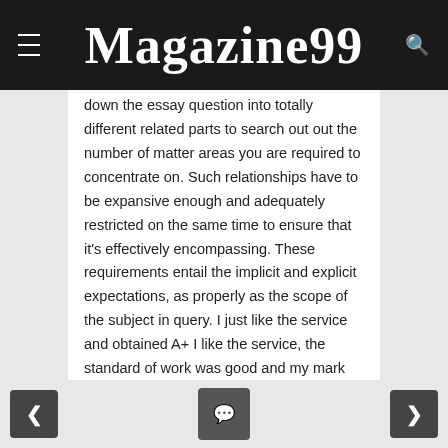Magazine99
down the essay question into totally different related parts to search out out the number of matter areas you are required to concentrate on. Such relationships have to be expansive enough and adequately restricted on the same time to ensure that it's effectively encompassing. These requirements entail the implicit and explicit expectations, as properly as the scope of the subject in query. I just like the service and obtained A+ I like the service, the standard of work was good and my mark as well.